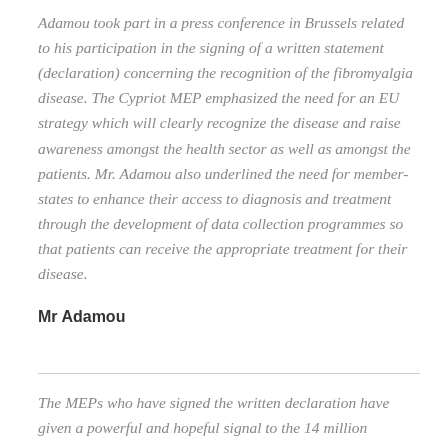Adamou took part in a press conference in Brussels related to his participation in the signing of a written statement (declaration) concerning the recognition of the fibromyalgia disease. The Cypriot MEP emphasized the need for an EU strategy which will clearly recognize the disease and raise awareness amongst the health sector as well as amongst the patients. Mr. Adamou also underlined the need for member-states to enhance their access to diagnosis and treatment through the development of data collection programmes so that patients can receive the appropriate treatment for their disease.
Mr Adamou
The MEPs who have signed the written declaration have given a powerful and hopeful signal to the 14 million